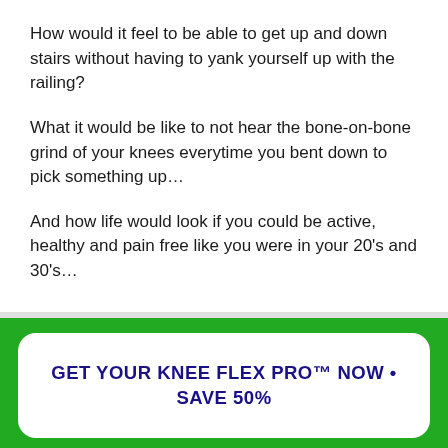How would it feel to be able to get up and down stairs without having to yank yourself up with the railing?
What it would be like to not hear the bone-on-bone grind of your knees everytime you bent down to pick something up…
And how life would look if you could be active, healthy and pain free like you were in your 20's and 30's…
GET YOUR KNEE FLEX PRO™ NOW • SAVE 50%